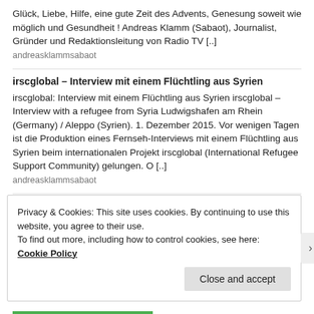Glück, Liebe, Hilfe, eine gute Zeit des Advents, Genesung soweit wie möglich und Gesundheit ! Andreas Klamm (Sabaot), Journalist, Gründer und Redaktionsleitung von Radio TV [..]
andreasklammsabaot
irscglobal – Interview mit einem Flüchtling aus Syrien
irscglobal: Interview mit einem Flüchtling aus Syrien irscglobal – Interview with a refugee from Syria Ludwigshafen am Rhein (Germany) / Aleppo (Syrien).  1. Dezember 2015. Vor wenigen Tagen ist die Produktion eines Fernseh-Interviews mit einem Flüchtling aus Syrien beim internationalen Projekt irscglobal (International Refugee Support Community) gelungen. O [..]
andreasklammsabaot
Zum 1. Advent viel Glück, Freude und Gesundheit
Privacy & Cookies: This site uses cookies. By continuing to use this website, you agree to their use.
To find out more, including how to control cookies, see here: Cookie Policy
Close and accept